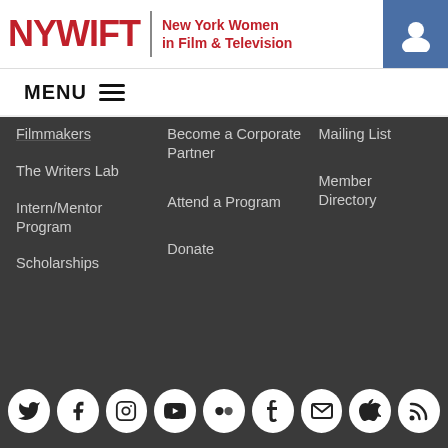[Figure (logo): NYWIFT logo — New York Women in Film & Television, red text with divider bar]
[Figure (screenshot): User/account icon in blue square in top-right of header]
MENU ≡
Filmmakers
The Writers Lab
Intern/Mentor Program
Scholarships
Become a Corporate Partner
Attend a Program
Donate
Mailing List
Member Directory
[Figure (infographic): Row of 9 white social media icons on dark background: Twitter, Facebook, Instagram, YouTube, Flickr, Tumblr, Email, Apple, RSS]